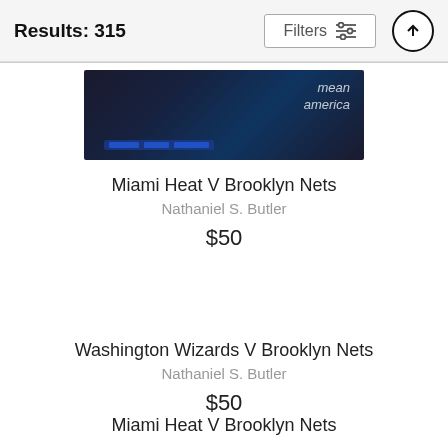Results: 315
[Figure (photo): Partial photo of a Brooklyn Nets arena product/book showing text 'mean america' with blue LED scoreboard lights visible]
Miami Heat V Brooklyn Nets
Nathaniel S. Butler
$50
Washington Wizards V Brooklyn Nets
Nathaniel S. Butler
$50
Miami Heat V Brooklyn Nets